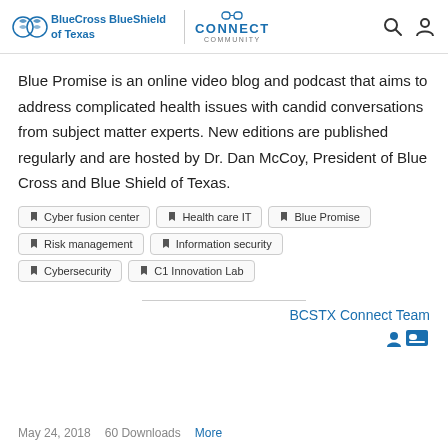BlueCross BlueShield of Texas | CONNECT COMMUNITY
Blue Promise is an online video blog and podcast that aims to address complicated health issues with candid conversations from subject matter experts. New editions are published regularly and are hosted by Dr. Dan McCoy, President of Blue Cross and Blue Shield of Texas.
Cyber fusion center
Health care IT
Blue Promise
Risk management
Information security
Cybersecurity
C1 Innovation Lab
BCSTX Connect Team
May 24, 2018    60 Downloads    More